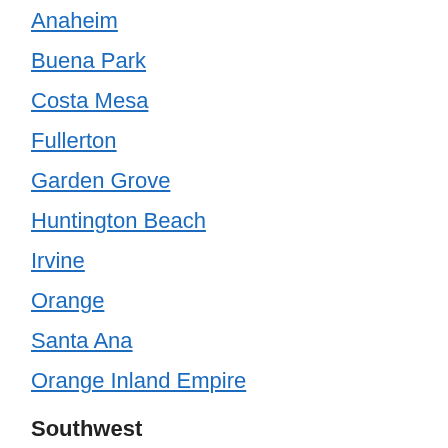Anaheim
Buena Park
Costa Mesa
Fullerton
Garden Grove
Huntington Beach
Irvine
Orange
Santa Ana
Orange Inland Empire
Southwest